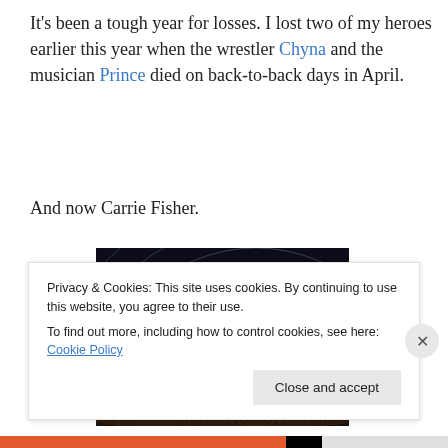It's been a tough year for losses. I lost two of my heroes earlier this year when the wrestler Chyna and the musician Prince died on back-to-back days in April.
And now Carrie Fisher.
[Figure (photo): Long-exposure night sky photo showing concentric star trails forming circular arcs around a central point, against a dark blue-black sky background.]
Privacy & Cookies: This site uses cookies. By continuing to use this website, you agree to their use.
To find out more, including how to control cookies, see here: Cookie Policy